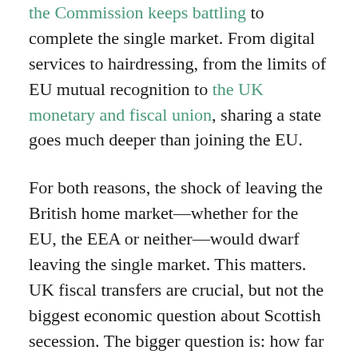the Commission keeps battling to complete the single market. From digital services to hairdressing, from the limits of EU mutual recognition to the UK monetary and fiscal union, sharing a state goes much deeper than joining the EU.
For both reasons, the shock of leaving the British home market—whether for the EU, the EEA or neither—would dwarf leaving the single market. This matters. UK fiscal transfers are crucial, but not the biggest economic question about Scottish secession. The bigger question is: how far would growth exceed or fall short of growth within the Union?
Nationalists make heroic assumptions here, cherrypicking small states and copying countries